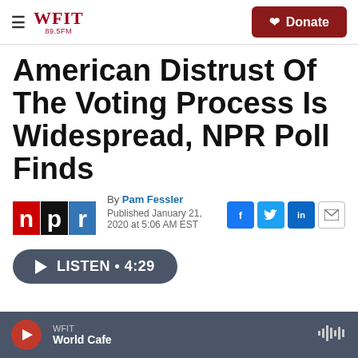WFIT 89.5FM — Donate
American Distrust Of The Voting Process Is Widespread, NPR Poll Finds
By Pam Fessler
Published January 21, 2020 at 5:06 AM EST
[Figure (logo): NPR logo with red n, black p, blue r blocks]
[Figure (infographic): Social share buttons: Facebook, Twitter, LinkedIn, Email]
[Figure (other): Listen button with play icon, duration 4:29]
WFIT — World Cafe — audio player bar